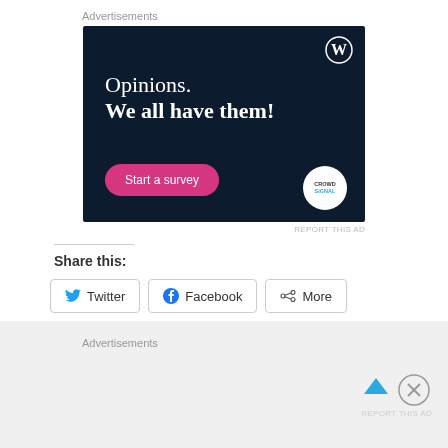Advertisements
[Figure (illustration): Dark navy advertisement banner for WordPress/Crowdsignal. Shows WordPress logo (W in circle) top right, text 'Opinions. We all have them!' in white serif font, pink rounded 'Start a survey' button at bottom left, and Crowdsignal logo circle at bottom right.]
REPORT THIS AD
Share this:
Twitter
Facebook
More
Advertisements